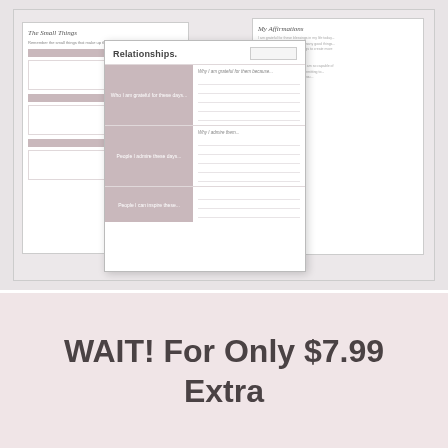[Figure (illustration): A preview image showing multiple journal/planner worksheet pages. The foreground shows a 'Relationships.' page with sections for gratitude and admiration. Background pages show 'The Small Things' and 'My Affirmations' worksheets. All pages have soft pink/mauve section headers and lined writing areas.]
WAIT! For Only $7.99 Extra